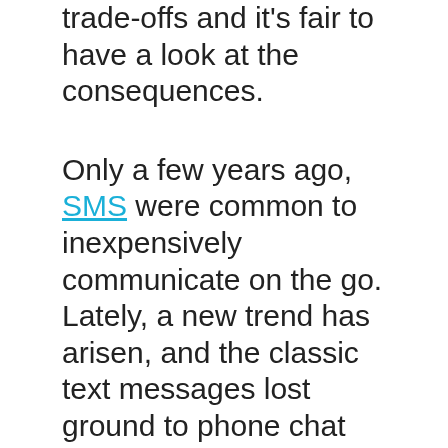trade-offs and it's fair to have a look at the consequences.
Only a few years ago, SMS were common to inexpensively communicate on the go. Lately, a new trend has arisen, and the classic text messages lost ground to phone chat applications such as WhatsApp, Line and similar platforms. 2012 is the year in which popularity of the chat platforms overtook that of SMS. It is estimated that in 2012 chat applications carried 19B messages/day, while SMS stood at 17B. And the gap is growing! The change has been so rapid that people focused on what it meant for their wallets, overlooking